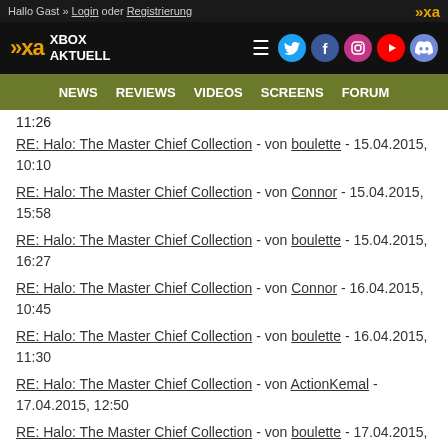Hallo Gast » Login oder Registrierung
[Figure (logo): Xbox Aktuell logo with navigation icons (hamburger, Twitter, Facebook, Instagram, YouTube, Discord)]
NEWS  REVIEWS  VIDEOS  SCREENS  FORUM
11:26
RE: Halo: The Master Chief Collection - von boulette - 15.04.2015, 10:10
RE: Halo: The Master Chief Collection - von Connor - 15.04.2015, 15:58
RE: Halo: The Master Chief Collection - von boulette - 15.04.2015, 16:27
RE: Halo: The Master Chief Collection - von Connor - 16.04.2015, 10:45
RE: Halo: The Master Chief Collection - von boulette - 16.04.2015, 11:30
RE: Halo: The Master Chief Collection - von ActionKemal - 17.04.2015, 12:50
RE: Halo: The Master Chief Collection - von boulette - 17.04.2015,